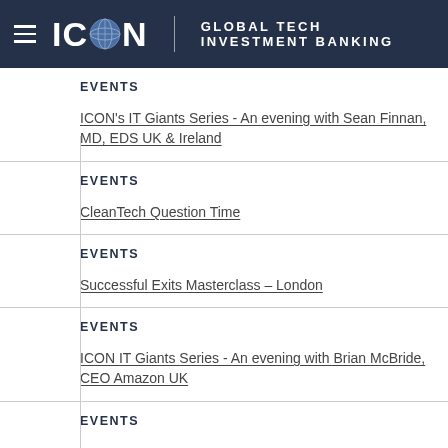ICON GLOBAL TECH INVESTMENT BANKING
EVENTS
ICON's IT Giants Series - An evening with Sean Finnan, MD, EDS UK & Ireland
EVENTS
CleanTech Question Time
EVENTS
Successful Exits Masterclass – London
EVENTS
ICON IT Giants Series - An evening with Brian McBride, CEO Amazon UK
EVENTS